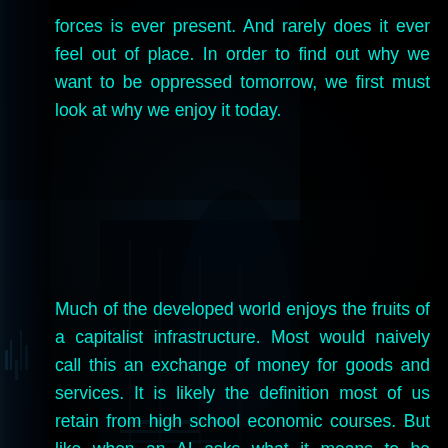forces is ever present. And rarely does it ever feel out of place. In order to find out why we want to be oppressed tomorrow, we first must look at why we enjoy it today.
[Figure (photo): Dark, moody cyberpunk-style photograph showing a dimly lit urban night scene with a shadowy figure, neon-tinged dark teal/blue tones, city lights faintly visible in the background.]
Much of the developed world enjoys the fruits of a capitalist infrastructure. Most would naively call this an exchange of money for goods and services. It is likely the definition most of us retain from high school economic courses. But like when an AI asks what it means to be human, the dissection of what